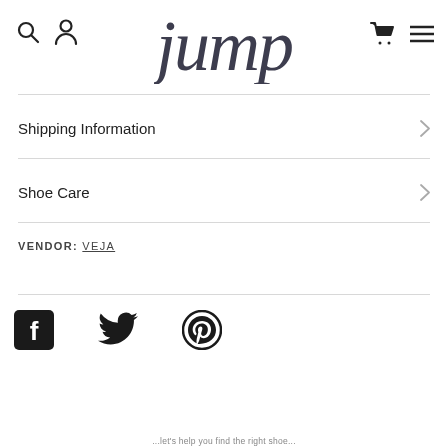jump — navigation header with search, account, cart, menu icons
Shipping Information
Shoe Care
VENDOR: VEJA
[Figure (infographic): Social share icons: Facebook, Twitter, Pinterest]
...let's help you find the right shoe...